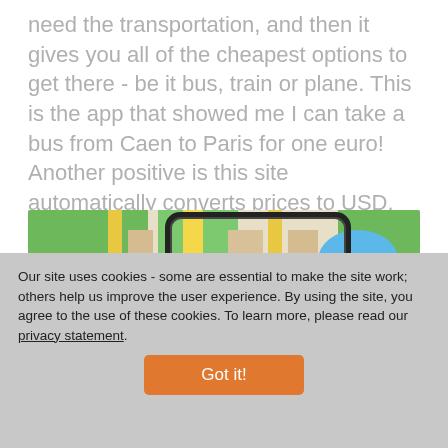need the transportation, and then it gives you all of the cheapest options to get there - be it bus, train or plane. This is the app that showed me I can take a bus from Caen to Paris for one euro! Another positive is this site automatically converts prices to USD.
[Figure (photo): Smartphone displaying a map application with a large red location pin marker pointing to a location, overlaid on a street map with green parks, blue water areas, and yellow roads.]
Our site uses cookies - some are essential to make the site work; others help us improve the user experience. By using the site, you agree to the use of these cookies. To learn more, please read our privacy statement.